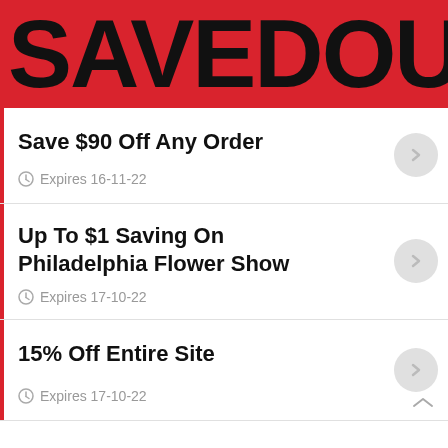SAVEDOUB
Save $90 Off Any Order
Expires 16-11-22
Up To $1 Saving On Philadelphia Flower Show
Expires 17-10-22
15% Off Entire Site
Expires 17-10-22